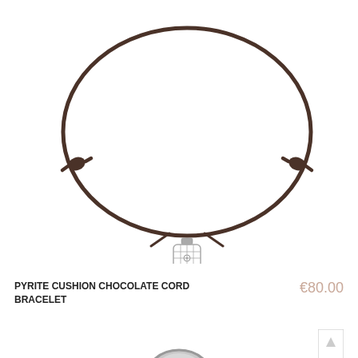[Figure (photo): A dark chocolate brown cord bracelet with adjustable sliding knots on either side and a small square silver filigree charm pendant hanging at the bottom, photographed on a white background from above showing the full oval/circular shape of the bracelet.]
PYRITE CUSHION CHOCOLATE CORD BRACELET
€80.00
[Figure (photo): Partial view of a second bracelet from below, showing a round silvery-grey stone (moonstone or similar) set in a silver bezel mount on a dark cord, photographed close up from above on white background.]